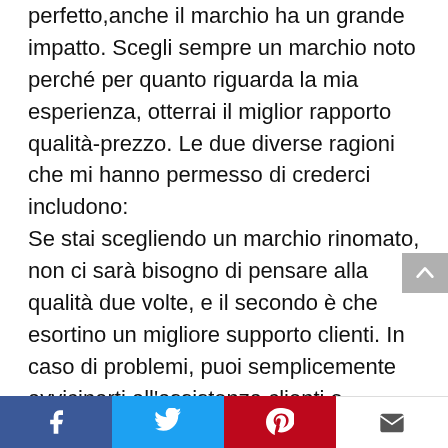perfetto,anche il marchio ha un grande impatto. Scegli sempre un marchio noto perché per quanto riguarda la mia esperienza, otterrai il miglior rapporto qualità-prezzo. Le due diverse ragioni che mi hanno permesso di crederci includono: Se stai scegliendo un marchio rinomato, non ci sarà bisogno di pensare alla qualità due volte, e il secondo è che esortino un migliore supporto clienti. In caso di problemi, puoi semplicemente avvicinarti all'assistenza clienti e ottenere le risposte. Non sto dicendo che tutti i marchi leader offrano i migliori prodotti di qualità o supportino con il miglior supporto clienti, ma la maggior parte ha il miglior Parerga E Paralipomena disponibile. Devi solo contattare i nostri servizi post-vendita e
[Figure (other): Back to top arrow button]
Facebook, Twitter, Pinterest, Email share buttons